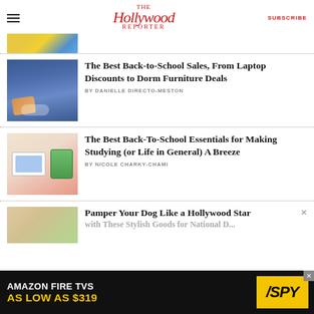The Hollywood Reporter — SUBSCRIBE
[Figure (photo): Partial thumbnail of an article — yellow background with colorful items]
The Best Back-to-School Sales, From Laptop Discounts to Dorm Furniture Deals
BY DANIELLE DIRECTO-MESTON
[Figure (photo): Dorm room bed with blue bedding and an orange pillow]
The Best Back-To-School Essentials for Making Studying (or Life in General) A Breeze
BY NICOLE CHARKY-CHAMI
[Figure (photo): Laptop and lunchbox on pink/cream background]
Pamper Your Dog Like a Hollywood Star with These Stylish Goods for National D...
[Figure (photo): Woman smiling, partial view]
[Figure (photo): Amazon Fire TVs advertisement banner — AS LOW AS $319, SPY logo]